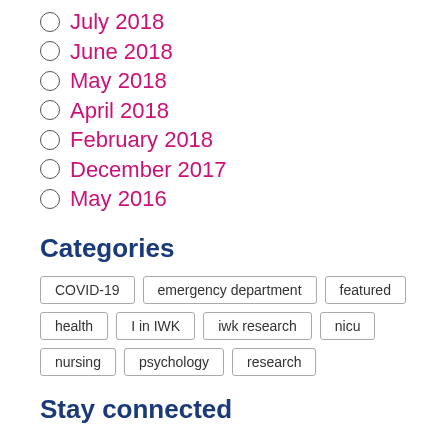July 2018
June 2018
May 2018
April 2018
February 2018
December 2017
May 2016
Categories
COVID-19  emergency department  featured  health  I in IWK  iwk research  nicu  nursing  psychology  research
Stay connected